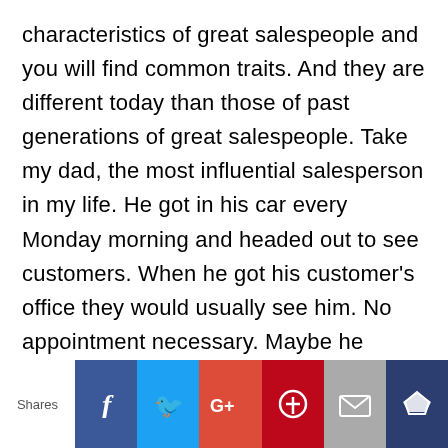characteristics of great salespeople and you will find common traits. And they are different today than those of past generations of great salespeople. Take my dad, the most influential salesperson in my life. He got in his car every Monday morning and headed out to see customers. When he got his customer's office they would usually see him. No appointment necessary. Maybe he would bring donuts or take a customer to lunch. His tech was the phone on his desk and a Remington typewriter. His research
[Figure (infographic): Social share bar with Shares label and buttons for Facebook, Twitter, Google+, Pinterest, Email, and a crown/bookmark icon]